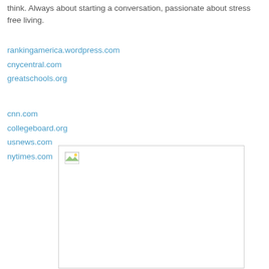think. Always about starting a conversation, passionate about stress free living.
rankingamerica.wordpress.com
cnycentral.com
greatschools.org
cnn.com
collegeboard.org
usnews.com
nytimes.com
[Figure (photo): Broken image placeholder (image failed to load)]